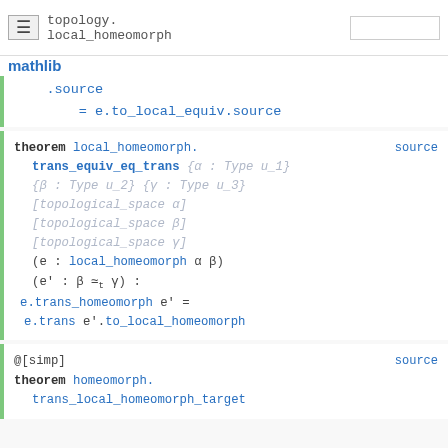topology.local_homeomorph — mathlib
.source
    = e.to_local_equiv.source
theorem local_homeomorph.trans_equiv_eq_trans {α : Type u_1} {β : Type u_2} {γ : Type u_3} [topological_space α] [topological_space β] [topological_space γ] (e : local_homeomorph α β) (e' : β ≃t γ) : e.trans_homeomorph e' = e.trans e'.to_local_homeomorph source
@[simp]
theorem homeomorph.trans_local_homeomorph_target source